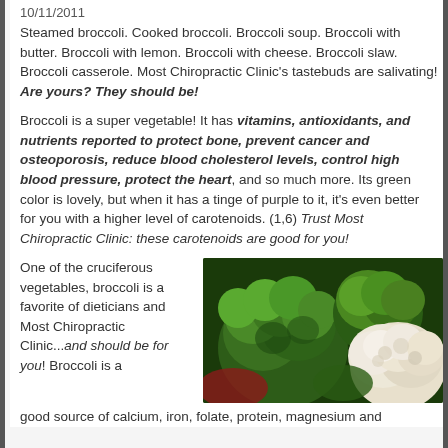10/11/2011
Steamed broccoli. Cooked broccoli. Broccoli soup. Broccoli with butter. Broccoli with lemon. Broccoli with cheese. Broccoli slaw. Broccoli casserole. Most Chiropractic Clinic's tastebuds are salivating! Are yours? They should be!
Broccoli is a super vegetable! It has vitamins, antioxidants, and nutrients reported to protect bone, prevent cancer and osteoporosis, reduce blood cholesterol levels, control high blood pressure, protect the heart, and so much more. Its green color is lovely, but when it has a tinge of purple to it, it's even better for you with a higher level of carotenoids. (1,6) Trust Most Chiropractic Clinic: these carotenoids are good for you!
One of the cruciferous vegetables, broccoli is a favorite of dieticians and Most Chiropractic Clinic...and should be for you! Broccoli is a good source of calcium, iron, folate, protein, magnesium and
[Figure (photo): Close-up photo of green broccoli and white cauliflower heads together]